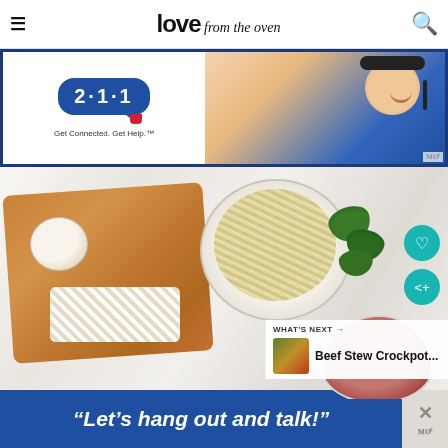love from the oven
[Figure (photo): Advertisement banner: 211 Get Connected. Get Help. with woman wearing headset smiling]
[Figure (photo): Food photo showing chopped onion on cutting board, bowl of shredded cheese or noodles, fresh basil leaves, and ground meat on a marble surface]
WHAT'S NEXT → Beef Stew Crockpot...
[Figure (photo): Advertisement banner at bottom: 'Let's hang out and talk!' in white italic text on blue background with close button]